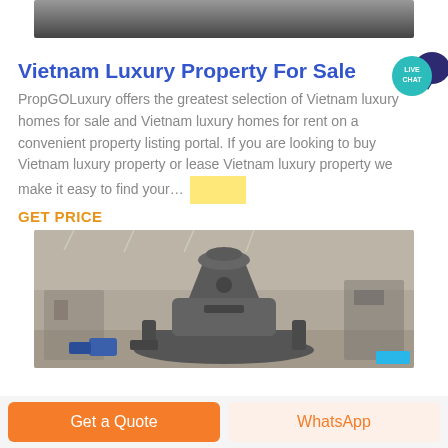[Figure (photo): Top partial image of industrial machinery or vehicles, dark toned]
Vietnam Luxury Property For Sale
[Figure (other): Live Chat speech bubble badge in teal/dark blue]
PropGOLuxury offers the greatest selection of Vietnam luxury homes for sale and Vietnam luxury homes for rent on a convenient property listing portal. If you are looking to buy Vietnam luxury property or lease Vietnam luxury property we make it easy to find your…
GET PRICE
[Figure (photo): Industrial machine (large cone crusher or similar heavy equipment) in a factory/warehouse setting]
Get a Quote
WhatsApp